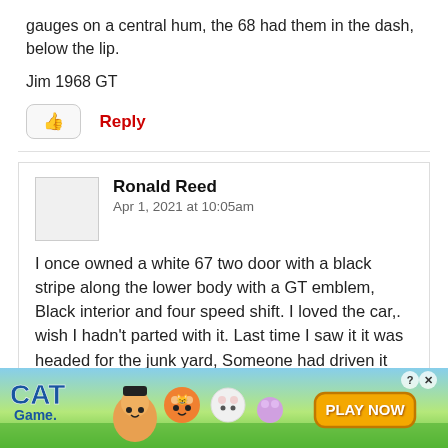gauges on a central hum, the 68 had them in the dash, below the lip.
Jim 1968 GT
Reply
Ronald Reed
Apr 1, 2021 at 10:05am
I once owned a white 67 two door with a black stripe along the lower body with a GT emblem, Black interior and four speed shift. I loved the car,. wish I hadn't parted with it. Last time I saw it it was headed for the junk yard, Someone had driven it
[Figure (screenshot): Cat Game mobile advertisement banner at bottom of page showing colorful cartoon cats and 'PLAY NOW' button]